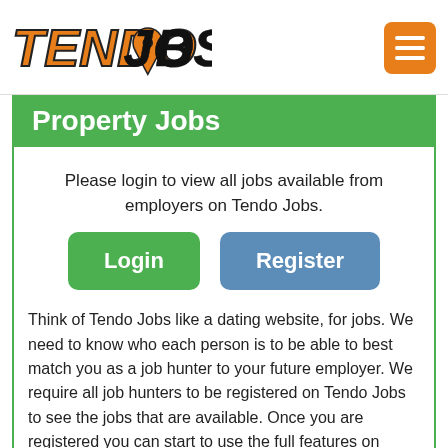[Figure (logo): TendoJobs logo with orange italic TENDO text and black italic JOBS text with a map pin icon, and an orange hamburger menu button in top right]
Property Jobs
Please login to view all jobs available from employers on Tendo Jobs.
Login   Register
Think of Tendo Jobs like a dating website, for jobs. We need to know who each person is to be able to best match you as a job hunter to your future employer. We require all job hunters to be registered on Tendo Jobs to see the jobs that are available. Once you are registered you can start to use the full features on Tendo Jobs to Follow job searches, counties, towns, active employers and local companies to personalise